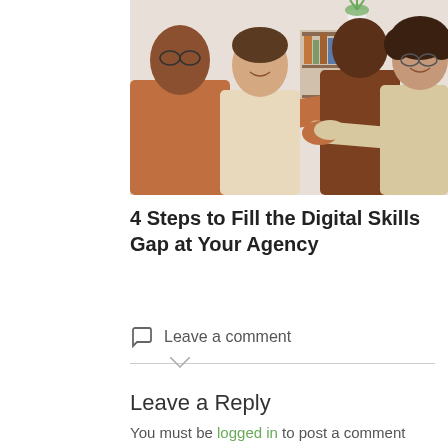[Figure (photo): Four people in an office setting, two of them shaking hands, others smiling and watching.]
4 Steps to Fill the Digital Skills Gap at Your Agency
Leave a comment
Leave a Reply
You must be logged in to post a comment